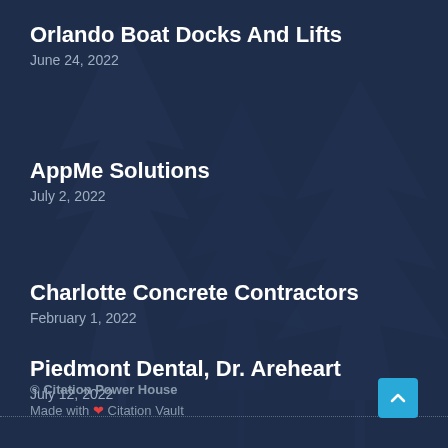Orlando Boat Docks And Lifts
June 24, 2022
AppMe Solutions
July 2, 2022
Charlotte Concrete Contractors
February 1, 2022
Piedmont Dental, Dr. Areheart
July 12, 2022
© Citation Power House
Made with ❤ Citation Vault